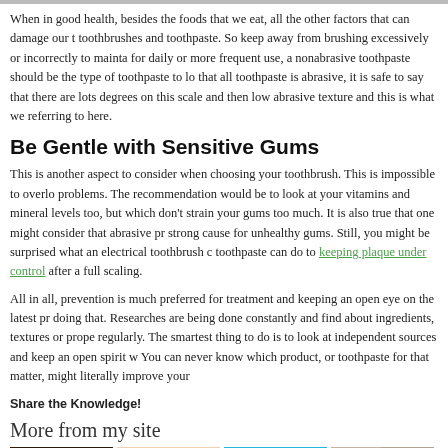When in good health, besides the foods that we eat, all the other factors that can damage our teeth includes toothbrushes and toothpaste. So keep away from brushing excessively or incorrectly to maintain for daily or more frequent use, a nonabrasive toothpaste should be the type of toothpaste to look for. Noting that all toothpaste is abrasive, it is safe to say that there are lots degrees on this scale and then there is the low abrasive texture and this is what we referring to here.
Be Gentle with Sensitive Gums
This is another aspect to consider when choosing your toothbrush. This is impossible to overlook gum problems. The recommendation would be to look at your vitamins and mineral levels too, but focus on brushes which don't strain your gums too much. It is also true that one might consider that abrasive products can a strong cause for unhealthy gums. Still, you might be surprised what an electrical toothbrush combined with toothpaste can do to keeping plaque under control after a full scaling.
All in all, prevention is much preferred for treatment and keeping an open eye on the latest products helps doing that. Researches are being done constantly and find about ingredients, textures or properties regularly. The smartest thing to do is to look at independent sources and keep an open spirit when selecting. You can never know which product, or toothpaste for that matter, might literally improve your oral health.
Share the Knowledge!
More from my site
[Figure (photo): Four thumbnail images in a row: a dark jar with wooden items, an open mouth showing tongue, a dental retainer/aligner on blue background, and a person receiving dental/medical treatment]